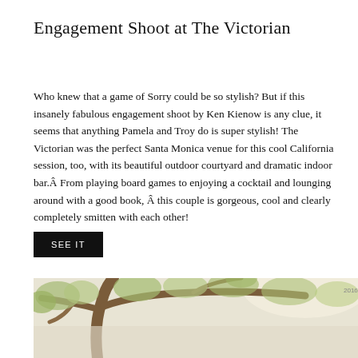Engagement Shoot at The Victorian
Who knew that a game of Sorry could be so stylish? But if this insanely fabulous engagement shoot by Ken Kienow is any clue, it seems that anything Pamela and Troy do is super stylish! The Victorian was the perfect Santa Monica venue for this cool California session, too, with its beautiful outdoor courtyard and dramatic indoor bar.Â From playing board games to enjoying a cocktail and lounging around with a good book, Â this couple is gorgeous, cool and clearly completely smitten with each other!
SEE IT
[Figure (photo): Outdoor photo showing tree branches with green foliage against a light, hazy background. The lower portion shows a washed-out, light beige/cream toned image of what appears to be an outdoor scene.]